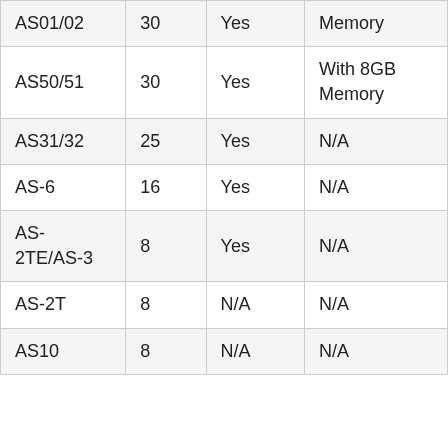| AS01/02 | 30 | Yes | Memory |
| AS50/51 | 30 | Yes | With 8GB Memory |
| AS31/32 | 25 | Yes | N/A |
| AS-6 | 16 | Yes | N/A |
| AS-2TE/AS-3 | 8 | Yes | N/A |
| AS-2T | 8 | N/A | N/A |
| AS10 | 8 | N/A | N/A |